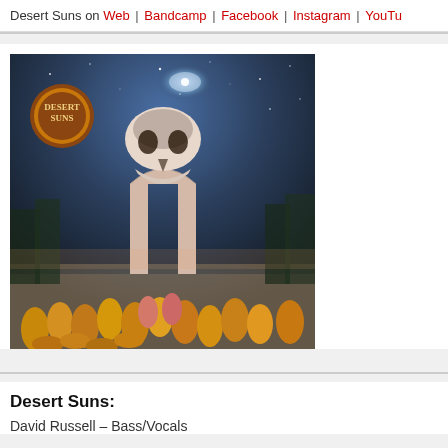Desert Suns on Web | Bandcamp | Facebook | Instagram | YouTube
[Figure (illustration): Album cover art for Desert Suns: a surreal illustration showing robed figures in yellow/orange cloaks gathered before a stone archway/monument with a large skull looming above it against a dark starry sky with a galaxy swirl. The Desert Suns logo appears in upper left in an ornate badge.]
Desert Suns:
David Russell – Bass/Vocals